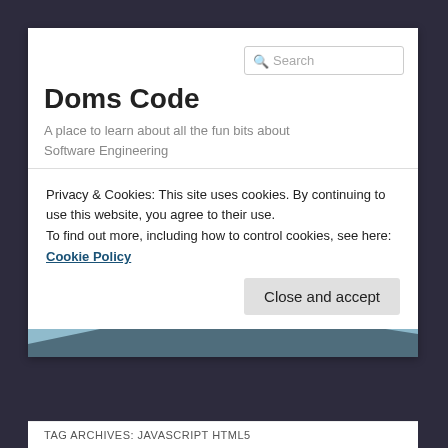[Figure (screenshot): Search input box with magnifying glass icon and placeholder text 'Search']
Doms Code
A place to learn about all the fun bits about Software Engineering
[Figure (photo): Hero image showing silhouette of a person standing on a rocky peak with misty blue mountains and sky in background]
Privacy & Cookies: This site uses cookies. By continuing to use this website, you agree to their use.
To find out more, including how to control cookies, see here: Cookie Policy
Close and accept
TAG ARCHIVES: JAVASCRIPT HTML5